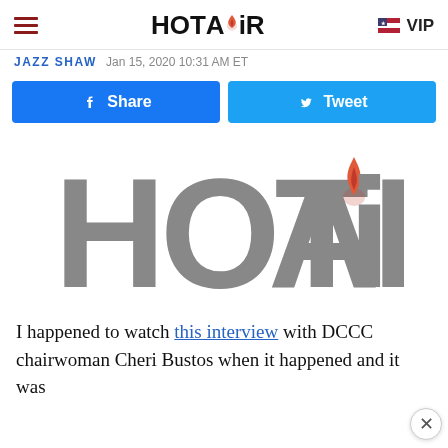HOT AiR
JAZZ SHAW  Jan 15, 2020 10:31 AM ET
[Figure (logo): HOT AiR logo large watermark in grey with flame icon replacing the dot in i]
I happened to watch this interview with DCCC chairwoman Cheri Bustos when it happened and it was